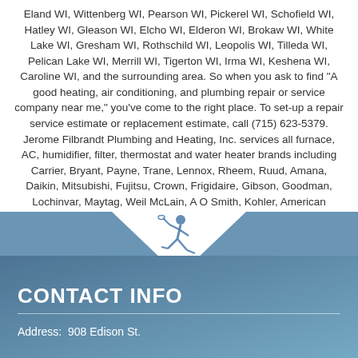Eland WI, Wittenberg WI, Pearson WI, Pickerel WI, Schofield WI, Hatley WI, Gleason WI, Elcho WI, Elderon WI, Brokaw WI, White Lake WI, Gresham WI, Rothschild WI, Leopolis WI, Tilleda WI, Pelican Lake WI, Merrill WI, Tigerton WI, Irma WI, Keshena WI, Caroline WI, and the surrounding area. So when you ask to find "A good heating, air conditioning, and plumbing repair or service company near me," you've come to the right place. To set-up a repair service estimate or replacement estimate, call (715) 623-5379. Jerome Filbrandt Plumbing and Heating, Inc. services all furnace, AC, humidifier, filter, thermostat and water heater brands including Carrier, Bryant, Payne, Trane, Lennox, Rheem, Ruud, Amana, Daikin, Mitsubishi, Fujitsu, Crown, Frigidaire, Gibson, Goodman, Lochinvar, Maytag, Weil McLain, A O Smith, Kohler, American Standard, GeoExcel, General, Aprilaire, Honeywell, White Rodgers, Dynamic, and Skuttle.
[Figure (illustration): Small blue illustration of a running plumber figure, used as a decorative divider between the text and contact section]
CONTACT INFO
Address:  908 Edison St.